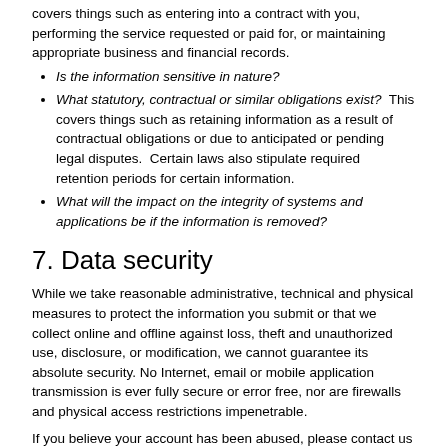covers things such as entering into a contract with you, performing the service requested or paid for, or maintaining appropriate business and financial records.
Is the information sensitive in nature?
What statutory, contractual or similar obligations exist?  This covers things such as retaining information as a result of contractual obligations or due to anticipated or pending legal disputes.  Certain laws also stipulate required retention periods for certain information.
What will the impact on the integrity of systems and applications be if the information is removed?
7. Data security
While we take reasonable administrative, technical and physical measures to protect the information you submit or that we collect online and offline against loss, theft and unauthorized use, disclosure, or modification, we cannot guarantee its absolute security. No Internet, email or mobile application transmission is ever fully secure or error free, nor are firewalls and physical access restrictions impenetrable.
If you believe your account has been abused, please contact us at customercare@ritchiebros.com.